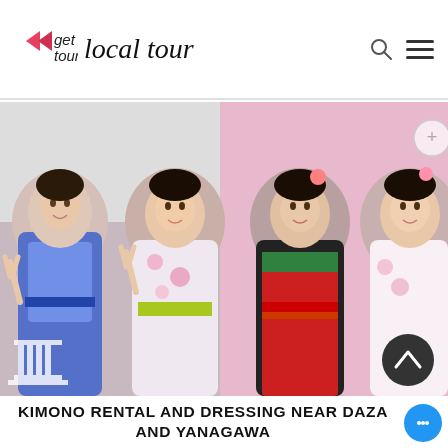get local tour
[Figure (photo): Four young women dressed in colorful traditional Japanese kimonos, smiling and making peace signs. They are posing in front of a pink background. The kimonos are elaborate and colorful — blue/purple floral, white/pink floral, red/green floral, and white/pink patterns.]
KIMONO RENTAL AND DRESSING NEAR DAZAIFU AND YANAGAWA